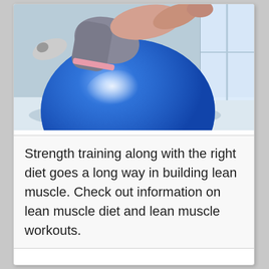[Figure (photo): Person performing an exercise on a large blue stability/exercise ball indoors. The person is wearing grey pants and a pink/white top, leaning back over the ball. Background shows a light-coloured room with a window or glass door.]
Strength training along with the right diet goes a long way in building lean muscle. Check out information on lean muscle diet and lean muscle workouts.